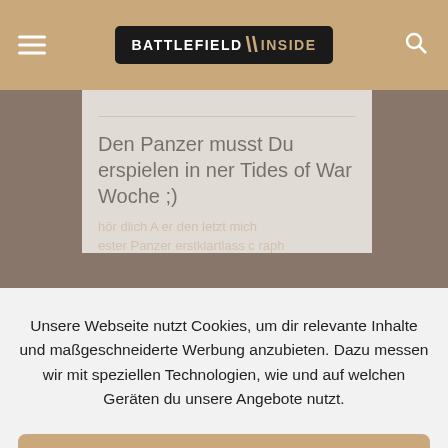BATTLEFIELD INSIDE
Den Panzer musst Du erspielen in ner Tides of War Woche ;)
Unsere Webseite nutzt Cookies, um dir relevante Inhalte und maßgeschneiderte Werbung anzubieten. Dazu messen wir mit speziellen Technologien, wie und auf welchen Geräten du unsere Angebote nutzt.
Cookies akzeptieren
Einstellungen
Gast